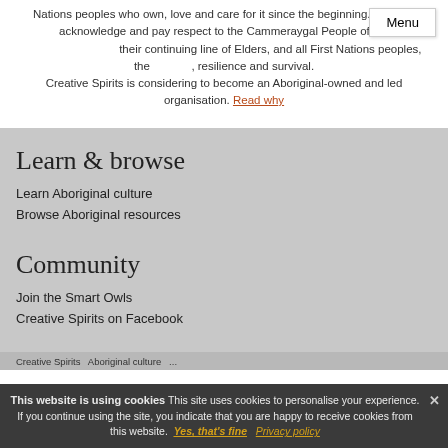Nations peoples who own, love and care for it since the beginning. We also acknowledge and pay respect to the Cammeraygal People of the ... their continuing line of Elders, and all First Nations peoples, their ..., resilience and survival.
Creative Spirits is considering to become an Aboriginal-owned and led organisation. Read why
Learn & browse
Learn Aboriginal culture
Browse Aboriginal resources
Community
Join the Smart Owls
Creative Spirits on Facebook
This website is using cookies This site uses cookies to personalise your experience. If you continue using the site, you indicate that you are happy to receive cookies from this website. Yes, that's fine Privacy policy